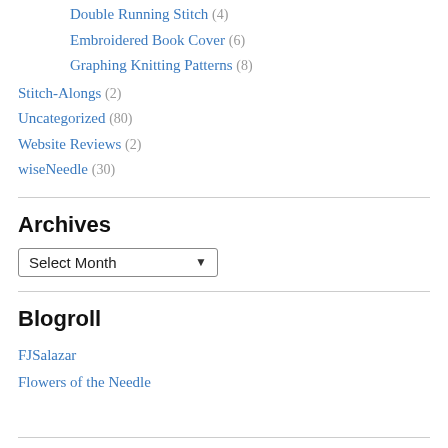Double Running Stitch (4)
Embroidered Book Cover (6)
Graphing Knitting Patterns (8)
Stitch-Alongs (2)
Uncategorized (80)
Website Reviews (2)
wiseNeedle (30)
Archives
Select Month
Blogroll
FJSalazar
Flowers of the Needle